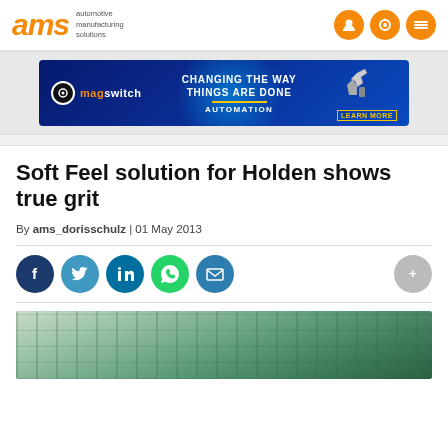ams automotive manufacturing solutions
[Figure (screenshot): Magswitch advertisement banner: 'CHANGING THE WAY THINGS ARE DONE - AUTOMATION - LEARN MORE' on dark blue background with robotic arm graphic]
Soft Feel solution for Holden shows true grit
By ams_dorisschulz | 01 May 2013
[Figure (infographic): Social sharing buttons: Facebook, Twitter, LinkedIn, WhatsApp, Email, and a bookmark/save button]
[Figure (photo): Partial view of an automotive manufacturing facility, showing green industrial piping or structural elements]